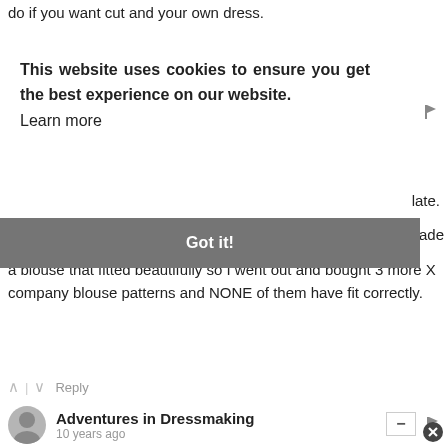do if you want cut and your own dress.
This website uses cookies to ensure you get the best experience on our website. Learn more
late.
Got it!
made a blouse that fitted beautifully so I went out and bought 3 more X company blouse patterns and NONE of them have fit correctly.
Adventures in Dressmaking
10 years ago
I do the exact same thing--usually 2 sizes smaller, then sometimes make extra modifications, and I always use 1/2" seam allowances. It DOES make a difference, almost a full size sometimes (for a princess seam dress, or something)!
Reply
Reply